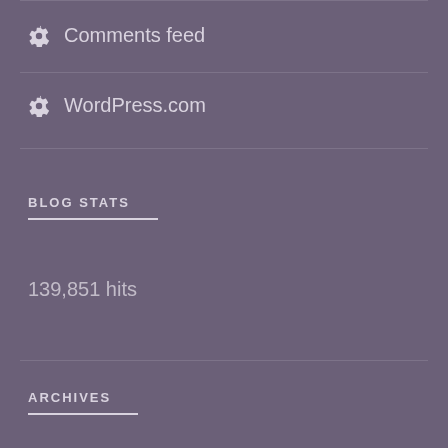Comments feed
WordPress.com
BLOG STATS
139,851 hits
ARCHIVES